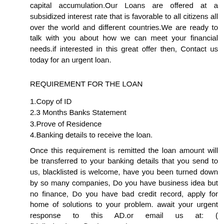capital accumulation.Our Loans are offered at a subsidized interest rate that is favorable to all citizens all over the world and different countries.We are ready to talk with you about how we can meet your financial needs.if interested in this great offer then, Contact us today for an urgent loan.
REQUIREMENT FOR THE LOAN
1.Copy of ID
2.3 Months Banks Statement
3.Prove of Residence
4.Banking details to receive the loan.
Once this requirement is remitted the loan amount will be transferred to your banking details that you send to us, blacklisted is welcome, have you been turned down by so many companies, Do you have business idea but no finance, Do you have bad credit record, apply for home of solutions to your problem. await your urgent response to this AD.or email us at: ( fidelity.bank222@yahoo.com)
Personal Loans
Pay Day Loans